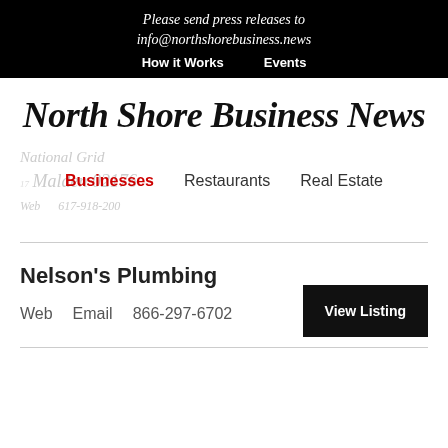Please send press releases to info@northshorebusiness.news
How it Works   Events
North Shore Business News
National Grid
Malden 02176
Businesses   Restaurants   Real Estate
Nelson's Plumbing
View Listing
Web   Email   866-297-6702